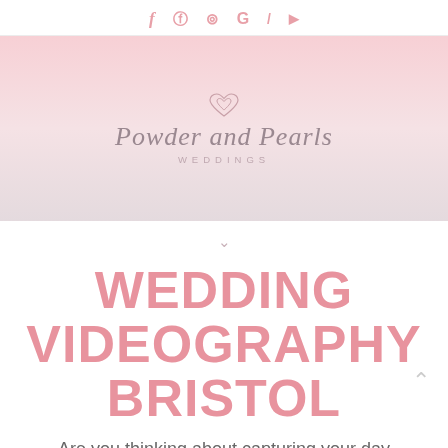f  ⊕  ⊙  G  ✆  ▶
[Figure (logo): Powder and Pearls Weddings logo with script text and heart icon on pink gradient background]
WEDDING VIDEOGRAPHY BRISTOL
Are you thinking about capturing your day